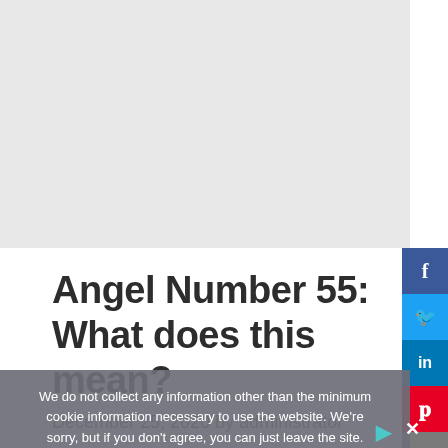Angel Number 55: What does this mean?
December 25, 2020 by administrator
We do not collect any information other than the minimum cookie information necessary to use the website. We're sorry, but if you don't agree, you can just leave the site.